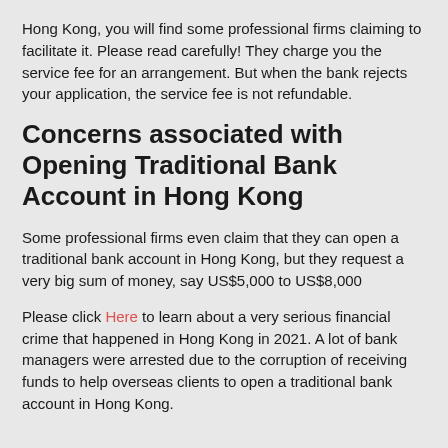Hong Kong, you will find some professional firms claiming to facilitate it. Please read carefully! They charge you the service fee for an arrangement. But when the bank rejects your application, the service fee is not refundable.
Concerns associated with Opening Traditional Bank Account in Hong Kong
Some professional firms even claim that they can open a traditional bank account in Hong Kong, but they request a very big sum of money, say US$5,000 to US$8,000
Please click Here to learn about a very serious financial crime that happened in Hong Kong in 2021. A lot of bank managers were arrested due to the corruption of receiving funds to help overseas clients to open a traditional bank account in Hong Kong.